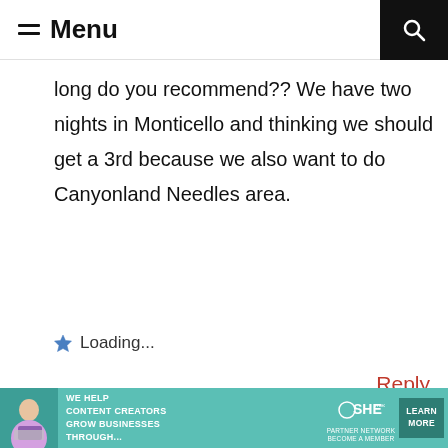Menu
long do you recommend?? We have two nights in Monticello and thinking we should get a 3rd because we also want to do Canyonland Needles area.
Loading...
Reply
MEGAN JOHNSON!
January 23, 2022 at 5:30 am
[Figure (infographic): Advertisement banner: SHE Media Partner Network - We help content creators grow businesses through...]
[Figure (photo): Round avatar photo of Megan Johnson sitting on a rock formation]